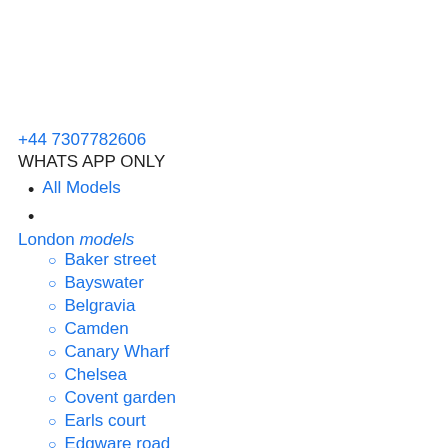+44 7307782606
WHATS APP ONLY
All Models
London models
Baker street
Bayswater
Belgravia
Camden
Canary Wharf
Chelsea
Covent garden
Earls court
Edgware road